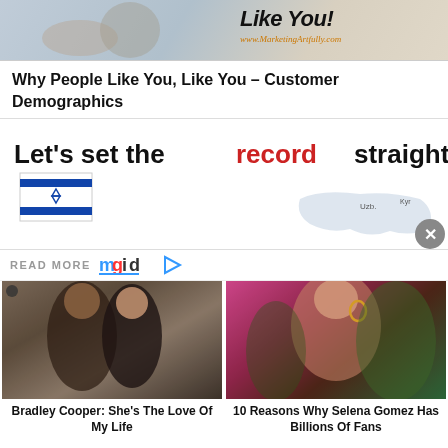[Figure (photo): Advertisement banner showing two people in yoga/sitting pose with text 'Like You!' and URL www.MarketingArtfully.com]
Why People Like You, Like You – Customer Demographics
[Figure (photo): Advertisement banner reading 'Let's set the record straight,' with Israel flag and map graphic]
READ MORE mgid
[Figure (photo): Thumbnail photo of Bradley Cooper and Jennifer Garner]
Bradley Cooper: She's The Love Of My Life
[Figure (photo): Thumbnail photo of Selena Gomez]
10 Reasons Why Selena Gomez Has Billions Of Fans